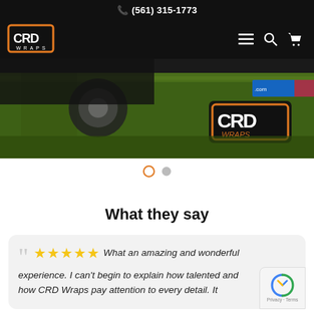📞 (561) 315-1773
[Figure (logo): CRD Wraps logo in orange and white on dark background with navigation icons (hamburger menu, search, cart)]
[Figure (photo): Partial view of a vehicle/trailer on green grass with CRD Wraps branding visible]
[Figure (other): Slider pagination dots - one orange outlined active dot and one grey inactive dot]
What they say
" ★★★★★ What an amazing and wonderful experience. I can't begin to explain how talented and how CRD Wraps pay attention to every detail. It